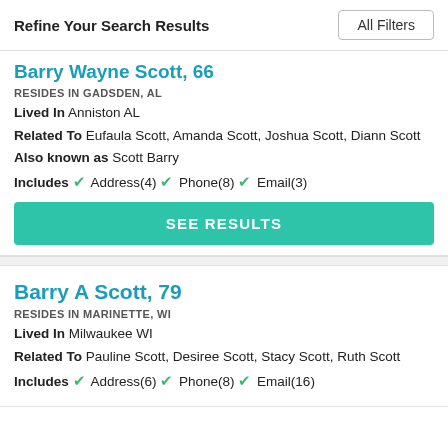Refine Your Search Results   All Filters
Barry Wayne Scott, 66
RESIDES IN GADSDEN, AL
Lived In Anniston AL
Related To Eufaula Scott, Amanda Scott, Joshua Scott, Diann Scott
Also known as Scott Barry
Includes ✓ Address(4) ✓ Phone(8) ✓ Email(3)
SEE RESULTS
Barry A Scott, 79
RESIDES IN MARINETTE, WI
Lived In Milwaukee WI
Related To Pauline Scott, Desiree Scott, Stacy Scott, Ruth Scott
Includes ✓ Address(6) ✓ Phone(8) ✓ Email(16)